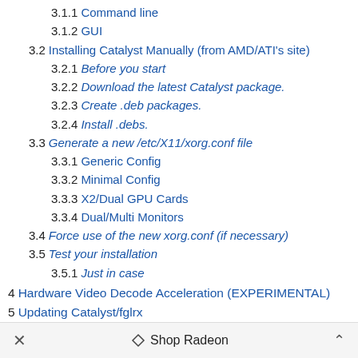3.1.1  Command line
3.1.2  GUI
3.2  Installing Catalyst Manually (from AMD/ATI's site)
3.2.1  Before you start
3.2.2  Download the latest Catalyst package.
3.2.3  Create .deb packages.
3.2.4  Install .debs.
3.3  Generate a new /etc/X11/xorg.conf file
3.3.1  Generic Config
3.3.2  Minimal Config
3.3.3  X2/Dual GPU Cards
3.3.4  Dual/Multi Monitors
3.4  Force use of the new xorg.conf (if necessary)
3.5  Test your installation
3.5.1  Just in case
4  Hardware Video Decode Acceleration (EXPERIMENTAL)
5  Updating Catalyst/fglrx
6  Removing Catalyst/fglrx
× ♦ Shop Radeon ^